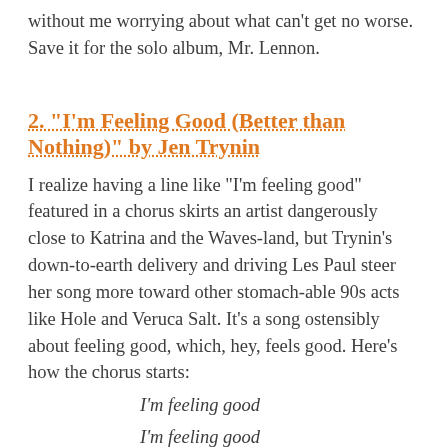without me worrying about what can't get no worse. Save it for the solo album, Mr. Lennon.
2. “I’m Feeling Good (Better than Nothing)” by Jen Trynin
I realize having a line like “I’m feeling good” featured in a chorus skirts an artist dangerously close to Katrina and the Waves-land, but Trynin’s down-to-earth delivery and driving Les Paul steer her song more toward other stomach-able 90s acts like Hole and Veruca Salt. It’s a song ostensibly about feeling good, which, hey, feels good. Here’s how the chorus starts:
I’m feeling good
I’m feeling good